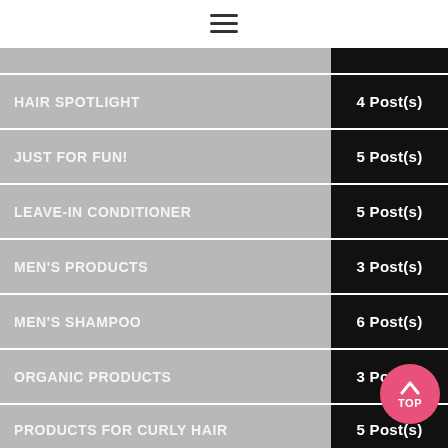≡ (hamburger menu icon)
HAIR SPOTLIGHT — 4 Post(s)
JUST FOR FUN! — 5 Post(s)
LEAVE-IN CONDITIONER — 5 Post(s)
MEN'S PRODUCTS — 3 Post(s)
MEN'S SHAMPOO — 6 Post(s)
ORGANIC PRODUCTS — 3 Post(s)
PRODUCTS FOR CURLY HAIR — 5 Post(s)